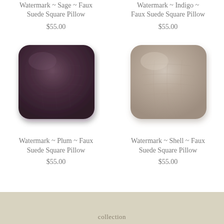Watermark ~ Sage ~ Faux Suede Square Pillow
$55.00
Watermark ~ Indigo ~ Faux Suede Square Pillow
$55.00
[Figure (photo): Plum colored faux suede square pillow]
[Figure (photo): Shell/beige colored faux suede square pillow]
Watermark ~ Plum ~ Faux Suede Square Pillow
$55.00
Watermark ~ Shell ~ Faux Suede Square Pillow
$55.00